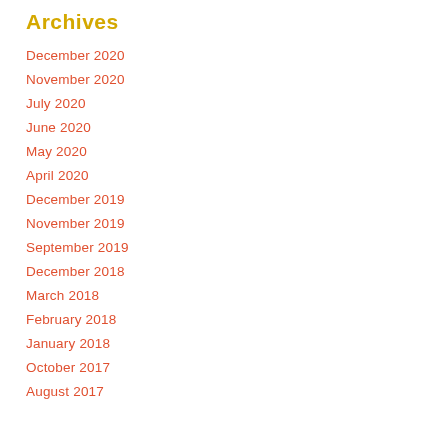Archives
December 2020
November 2020
July 2020
June 2020
May 2020
April 2020
December 2019
November 2019
September 2019
December 2018
March 2018
February 2018
January 2018
October 2017
August 2017